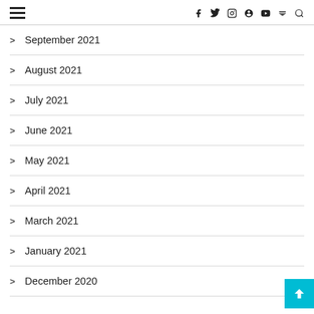☰  f  Twitter  Instagram  Pinterest  YouTube  RSS  Search
> September 2021
> August 2021
> July 2021
> June 2021
> May 2021
> April 2021
> March 2021
> January 2021
> December 2020